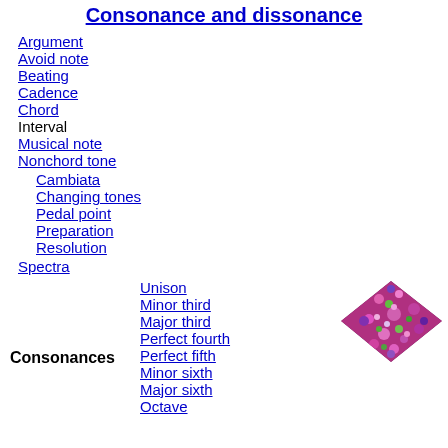Consonance and dissonance
Argument
Avoid note
Beating
Cadence
Chord
Interval
Musical note
Nonchord tone
Cambiata
Changing tones
Pedal point
Preparation
Resolution
Spectra
[Figure (photo): A colorful speckled diamond-shaped image in pink, green, and purple tones]
Unison
Minor third
Major third
Perfect fourth
Perfect fifth
Minor sixth
Major sixth
Octave
Consonances